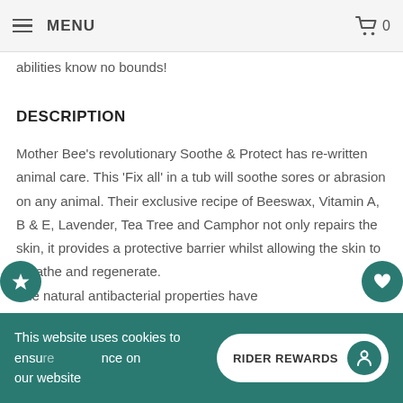MENU  0
abilities know no bounds!
DESCRIPTION
Mother Bee's revolutionary Soothe & Protect has re-written animal care. This 'Fix all' in a tub will soothe sores or abrasion on any animal. Their exclusive recipe of Beeswax, Vitamin A, B & E, Lavender, Tea Tree and Camphor not only repairs the skin, it provides a protective barrier whilst allowing the skin to breathe and regenerate.
The natural antibacterial properties have
This website uses cookies to ensure ... nce on our website  RIDER REWARDS